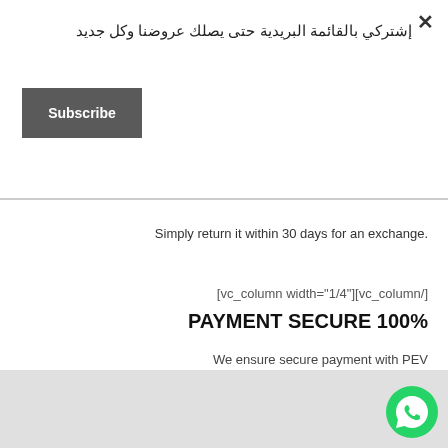إشتركي بالقائمة البريدية حتى يصلك عروضنا وكل جديد
Subscribe
Simply return it within 30 days for an exchange.
[vc_column width="1/4"][vc_column/]
PAYMENT SECURE 100%
We ensure secure payment with PEV
[vc_row/][vc_column/]
Copyright © 2022